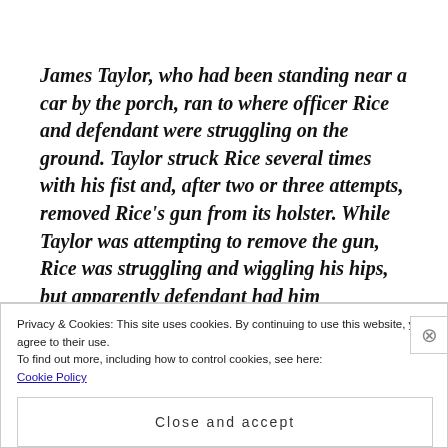James Taylor, who had been standing near a car by the porch, ran to where officer Rice and defendant were struggling on the ground. Taylor struck Rice several times with his fist and, after two or three attempts, removed Rice's gun from its holster. While Taylor was attempting to remove the gun, Rice was struggling and wiggling his hips, but apparently defendant had him
Privacy & Cookies: This site uses cookies. By continuing to use this website, you agree to their use.
To find out more, including how to control cookies, see here:
Cookie Policy
Close and accept